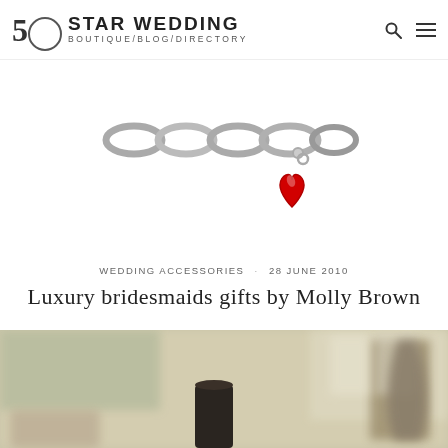5 STAR WEDDING BOUTIQUE/BLOG/DIRECTORY
[Figure (photo): Silver chain bracelet with a red heart-shaped glass charm pendant, on white background]
WEDDING ACCESSORIES · 28 June 2010
Luxury bridesmaids gifts by Molly Brown
[Figure (photo): Blurred indoor setting with decorative vases and soft natural light, showing a dark cylindrical object in the foreground]